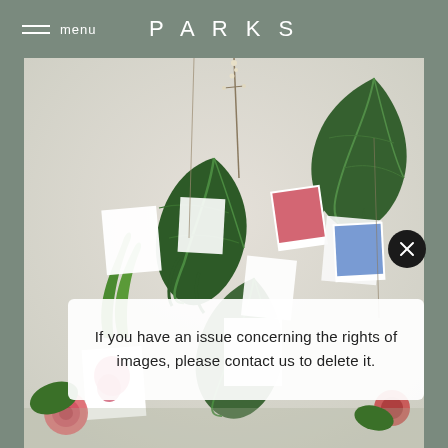menu  PARKS
[Figure (photo): Flat lay / mood board photograph showing tropical monstera leaves, dried botanical stems, and small photos/cards pinned to a white wall background]
If you have an issue concerning the rights of images, please contact us to delete it.